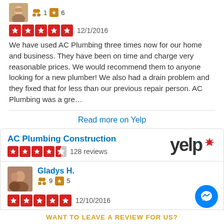[Figure (photo): User avatar thumbnail - small profile photo]
1   6
[Figure (other): 5 red star rating icons - 12/1/2016]
12/1/2016
We have used AC Plumbing three times now for our home and business. They have been on time and charge very reasonable prices. We would recommend them to anyone looking for a new plumber! We also had a drain problem and they fixed that for less than our previous repair person. AC Plumbing was a gre...
Read more on Yelp
AC Plumbing Construction
[Figure (logo): Yelp logo]
[Figure (other): 4.5 red star rating - 128 reviews]
128 reviews
[Figure (photo): Gladys H. profile avatar]
Gladys H.
9   5
[Figure (other): 5 red star rating - 12/10/2016]
12/10/2016
Very happy with there service. AC Plumbing Construction are the best. And reasonable price.
WANT TO LEAVE A REVIEW FOR US?